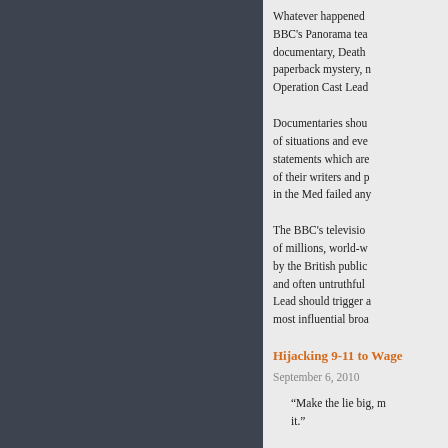Whatever happened BBC's Panorama team documentary, Death paperback mystery, n Operation Cast Lead
Documentaries shou of situations and eve statements which are of their writers and p in the Med failed any
The BBC's televisio of millions, world-w by the British public and often untruthful Lead should trigger a most influential broa
Hijacking 9-11 to Wage
September 6, 2010
“Make the lie big, m it.”